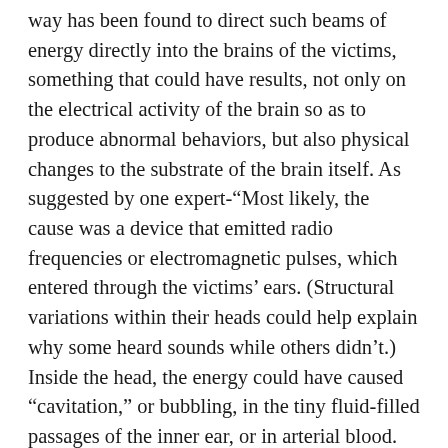way has been found to direct such beams of energy directly into the brains of the victims, something that could have results, not only on the electrical activity of the brain so as to produce abnormal behaviors, but also physical changes to the substrate of the brain itself. As suggested by one expert-"Most likely, the cause was a device that emitted radio frequencies or electromagnetic pulses, which entered through the victims' ears. (Structural variations within their heads could help explain why some heard sounds while others didn't.) Inside the head, the energy could have caused "cavitation," or bubbling, in the tiny fluid-filled passages of the inner ear, or in arterial blood. As the bubbles formed, and in some cases exploded, they could have damaged the organs that regulate balance and orientation. If they burst inside the cranial cavity, the victim could have suffered ministrokes, causing brain damage similar to the effects of